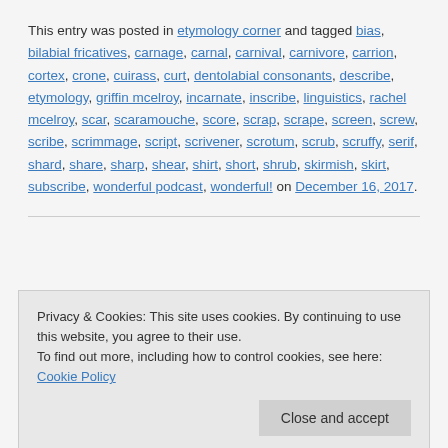This entry was posted in etymology corner and tagged bias, bilabial fricatives, carnage, carnal, carnival, carnivore, carrion, cortex, crone, cuirass, curt, dentolabial consonants, describe, etymology, griffin mcelroy, incarnate, inscribe, linguistics, rachel mcelroy, scar, scaramouche, score, scrap, scrape, screen, screw, scribe, scrimmage, script, scrivener, scrotum, scrub, scruffy, serif, shard, share, sharp, shear, shirt, short, shrub, skirmish, skirt, subscribe, wonderful podcast, wonderful! on December 16, 2017.
Privacy & Cookies: This site uses cookies. By continuing to use this website, you agree to their use.
To find out more, including how to control cookies, see here: Cookie Policy
Proper nouns can be very fun to look into, so let's give it the